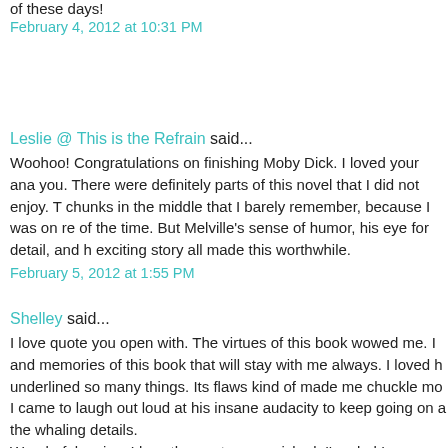of these days!
February 4, 2012 at 10:31 PM
Leslie @ This is the Refrain said...
Woohoo! Congratulations on finishing Moby Dick. I loved your ana you. There were definitely parts of this novel that I did not enjoy. T chunks in the middle that I barely remember, because I was on re of the time. But Melville's sense of humor, his eye for detail, and h exciting story all made this worthwhile.
February 5, 2012 at 1:55 PM
Shelley said...
I love quote you open with. The virtues of this book wowed me. I and memories of this book that will stay with me always. I loved h underlined so many things. Its flaws kind of made me chuckle mo I came to laugh out loud at his insane audacity to keep going on a the whaling details. Wonderful review-I love the quotes you picked. I'm glad I was rea "support" group!